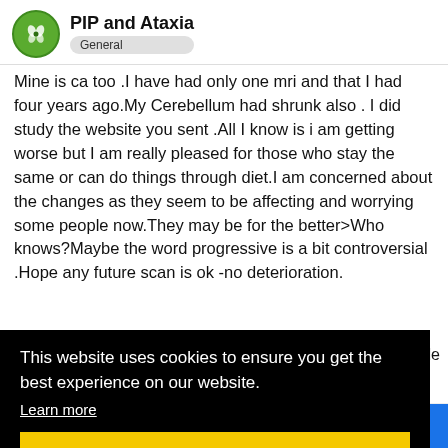PIP and Ataxia — General
Mine is ca too .I have had only one mri and that I had four years ago.My Cerebellum had shrunk also . I did study the website you sent .All I know is i am getting worse but I am really pleased for those who stay the same or can do things through diet.I am concerned about the changes as they seem to be affecting and worrying some people now.They may be for the better>Who knows?Maybe the word progressive is a bit controversial .Hope any future scan is ok -no deterioration.
[Figure (screenshot): Cookie consent overlay bar with black background. Contains text: 'This website uses cookies to ensure you get the best experience on our website.' with a 'Learn more' link and a yellow 'Got it!' button.]